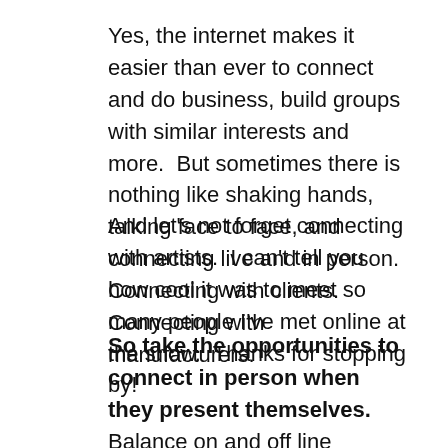Yes, the internet makes it easier than ever to connect and do business, build groups with similar interests and more. But sometimes there is nothing like shaking hands, talking face to face, and connecting live and in person. Connecting with clients. Connecting with manufacturers.
And let's not forget connecting with artists. I can't tell you how cool it was to meet so many people I've met online at the show. Thanks for stopping by!
So take the opportunities to connect in person when they present themselves. Balance on and off line communication. For your business and for your life. That's it for now... I need to get